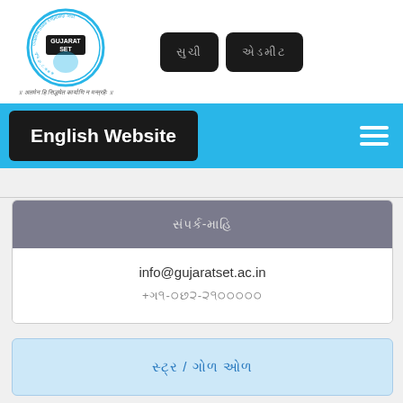[Figure (logo): Gujarat SET circular logo with map of Gujarat in center, blue border with text 'Gujarat State Eligibility Test']
॥ अतमेन हि सिद्धयेत कार्याणि न मन्त्रहैः ॥
English Website
સંપર્ક-માહિ
info@gujaratset.ac.in
+૯૧-૦૭૯-૨૬૩૦૦૦૦૦
સ્ટ્ર / ગોળ ઓળ